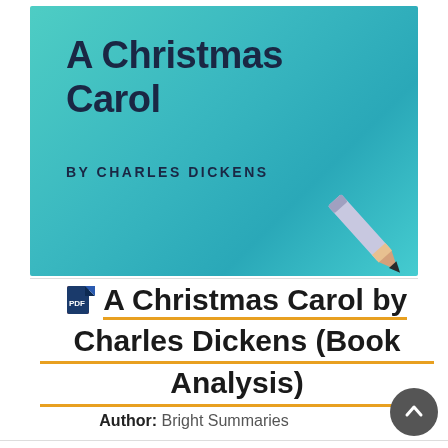[Figure (illustration): Book cover for 'A Christmas Carol' by Charles Dickens on a teal/turquoise background with bold title text and author name, with a pencil in the bottom right corner]
A Christmas Carol by Charles Dickens (Book Analysis)
Author: Bright Summaries